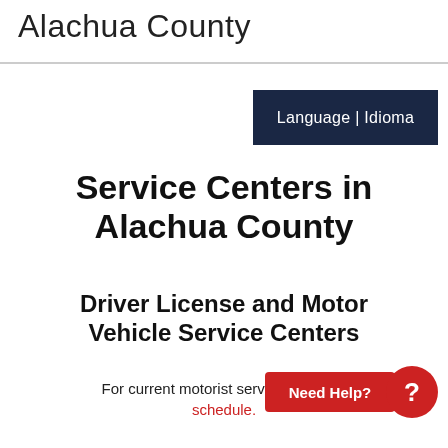Alachua County
Service Centers in Alachua County
Driver License and Motor Vehicle Service Centers
For current motorist service schedule.
[Figure (other): Language | Idioma button — dark navy rectangle]
[Figure (other): Need Help? red button and red circle with question mark]